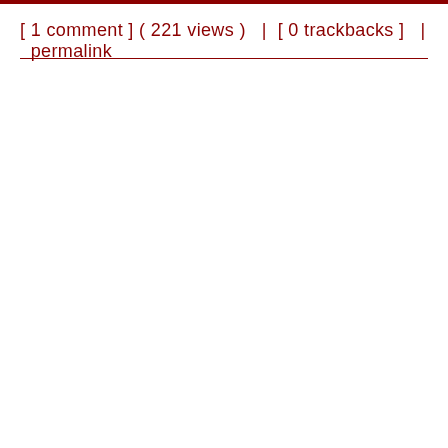[ 1 comment ] ( 221 views )   |  [ 0 trackbacks ]   |  permalink